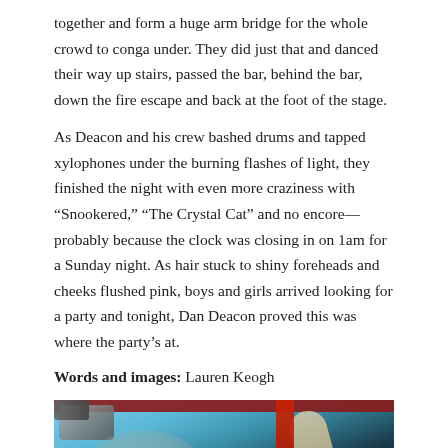together and form a huge arm bridge for the whole crowd to conga under. They did just that and danced their way up stairs, passed the bar, behind the bar, down the fire escape and back at the foot of the stage.
As Deacon and his crew bashed drums and tapped xylophones under the burning flashes of light, they finished the night with even more craziness with “Snookered,” “The Crystal Cat” and no encore—probably because the clock was closing in on 1am for a Sunday night. As hair stuck to shiny foreheads and cheeks flushed pink, boys and girls arrived looking for a party and tonight, Dan Deacon proved this was where the party’s at.
Words and images: Lauren Keogh
[Figure (photo): Concert photo showing a performer on stage with dramatic lighting, a red stripe element on the right side, stage lighting equipment visible at top left, and a teal/blue background projection. The performer appears to have dark hair and is illuminated by stage lights.]